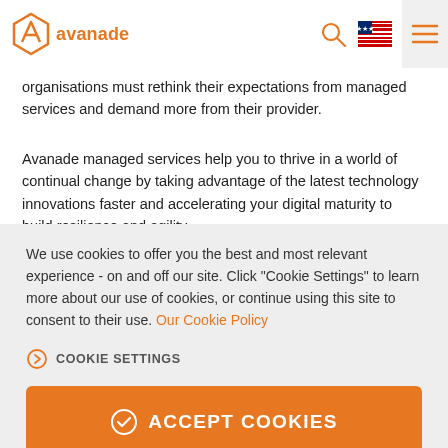avanade [navigation bar with logo, search, language selector, and menu icon]
organisations must rethink their expectations from managed services and demand more from their provider.
Avanade managed services help you to thrive in a world of continual change by taking advantage of the latest technology innovations faster and accelerating your digital maturity to build resilience and agility.
We use cookies to offer you the best and most relevant experience - on and off our site. Click "Cookie Settings" to learn more about our use of cookies, or continue using this site to consent to their use. Our Cookie Policy
COOKIE SETTINGS
ACCEPT COOKIES